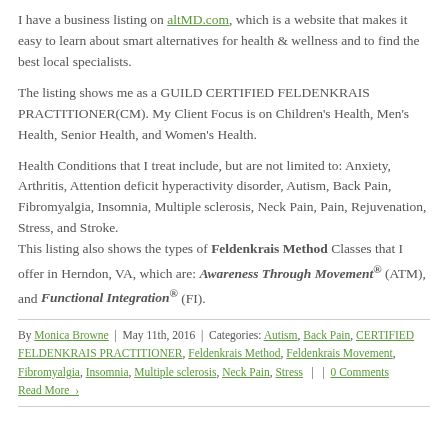I have a business listing on altMD.com, which is a website that makes it easy to learn about smart alternatives for health & wellness and to find the best local specialists.
The listing shows me as a GUILD CERTIFIED FELDENKRAIS PRACTITIONER(CM). My Client Focus is on Children's Health, Men's Health, Senior Health, and Women's Health.
Health Conditions that I treat include, but are not limited to: Anxiety, Arthritis, Attention deficit hyperactivity disorder, Autism, Back Pain, Fibromyalgia, Insomnia, Multiple sclerosis, Neck Pain, Pain, Rejuvenation, Stress, and Stroke. This listing also shows the types of Feldenkrais Method Classes that I offer in Herndon, VA, which are: Awareness Through Movement® (ATM), and Functional Integration® (FI).
By Monica Browne | May 11th, 2016 | Categories: Autism, Back Pain, CERTIFIED FELDENKRAIS PRACTITIONER, Feldenkrais Method, Feldenkrais Movement, Fibromyalgia, Insomnia, Multiple sclerosis, Neck Pain, Stress | | 0 Comments
Read More ›